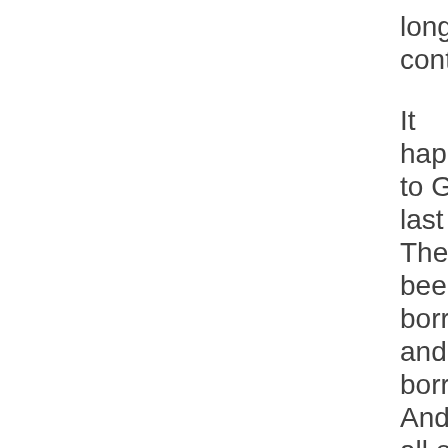longer continue. It happened to Greece last year. They had been borrowing and borrowing. And then, all of a sudden, people wouldn't lend to them. It wasn't a matter of having to pay a little